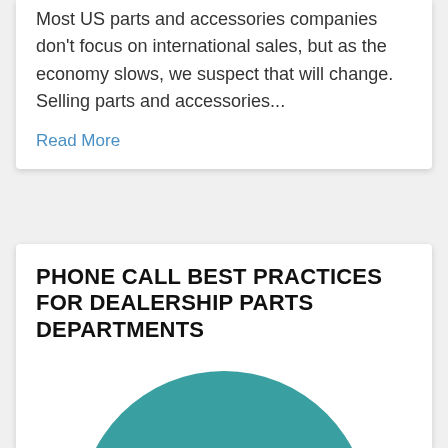Most US parts and accessories companies don't focus on international sales, but as the economy slows, we suspect that will change. Selling parts and accessories...
Read More
PHONE CALL BEST PRACTICES FOR DEALERSHIP PARTS DEPARTMENTS
[Figure (illustration): A teal circle with a silhouette illustration of a person wearing a headset (customer service / call center agent)]